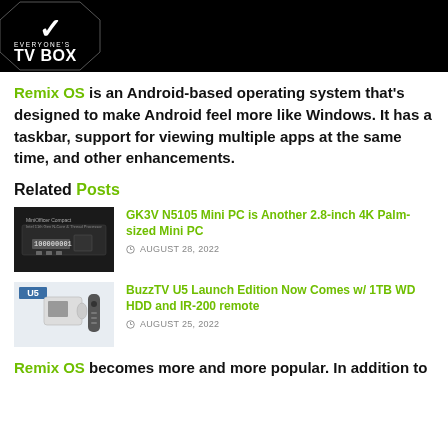[Figure (logo): Everyone's TV Box logo on black background with octagon shape]
Remix OS is an Android-based operating system that's designed to make Android feel more like Windows. It has a taskbar, support for viewing multiple apps at the same time, and other enhancements.
Related Posts
[Figure (photo): GK3V N5105 Mini PC product photo on dark background]
GK3V N5105 Mini PC is Another 2.8-inch 4K Palm-sized Mini PC
AUGUST 28, 2022
[Figure (photo): BuzzTV U5 product photo showing device and remote]
BuzzTV U5 Launch Edition Now Comes w/ 1TB WD HDD and IR-200 remote
AUGUST 25, 2022
Remix OS becomes more and more popular. In addition to